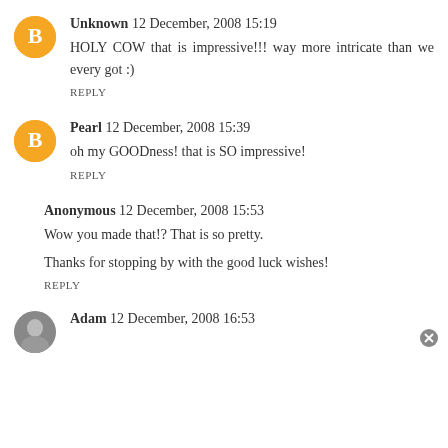Unknown 12 December, 2008 15:19 — HOLY COW that is impressive!!! way more intricate than we every got :) — REPLY
Pearl 12 December, 2008 15:39 — oh my GOODness! that is SO impressive! — REPLY
Anonymous 12 December, 2008 15:53 — Wow you made that!? That is so pretty. Thanks for stopping by with the good luck wishes! — REPLY
Adam 12 December, 2008 16:53